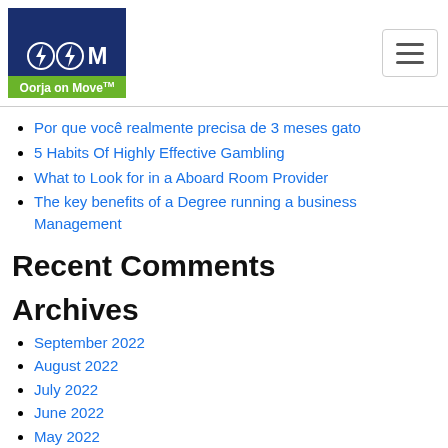[Figure (logo): Oorja on Move logo with lightning bolt icons on dark blue background and green bar at bottom]
Por que você realmente precisa de 3 meses gato
5 Habits Of Highly Effective Gambling
What to Look for in a Aboard Room Provider
The key benefits of a Degree running a business Management
Recent Comments
Archives
September 2022
August 2022
July 2022
June 2022
May 2022
April 2022